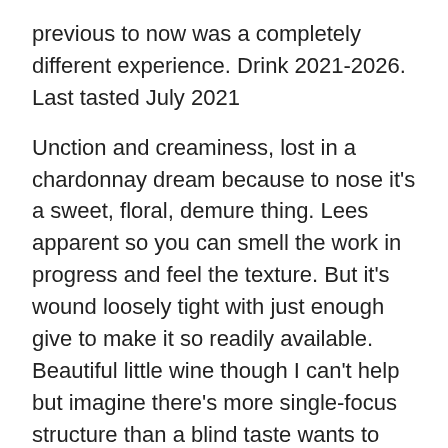previous to now was a completely different experience. Drink 2021-2026.  Last tasted July 2021
Unction and creaminess, lost in a chardonnay dream because to nose it's a sweet, floral, demure thing. Lees apparent so you can smell the work in progress and feel the texture. But it's wound loosely tight with just enough give to make it so readily available. Beautiful little wine though I can't help but imagine there's more single-focus structure than a blind taste wants to give. Hope to come across this hard to get beauty again someday soon. Tasted blind at NWAC17, June 2017
Hidden Bench Chardonnay Felseck Vineyard 2013, VQA Beamsville Bench
Tasted with incumbent winemaker Jay Johnston as part of